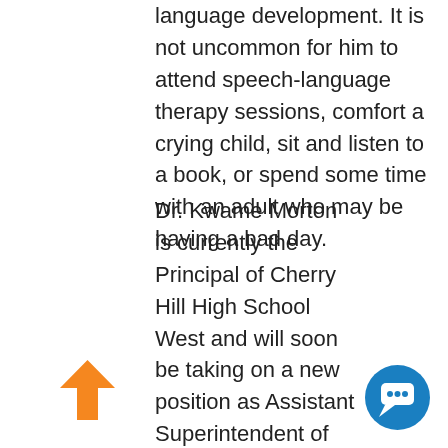language development. It is not uncommon for him to attend speech-language therapy sessions, comfort a crying child, sit and listen to a book, or spend some time with an adult who may be having a bad day.
Dr. Kwame Morton is currently the Principal of Cherry Hill High School West and will soon be taking on a new position as Assistant Superintendent of Cherry Hill Public Schools. At High School West, he has created a culture where “No Child Is Left Invisible,” ensuring that all students realize success. He has also built a very successful partnership with the Cherry
[Figure (illustration): Orange upward-pointing arrow icon at bottom left]
[Figure (illustration): Blue circular chat bubble / messenger icon at bottom right]